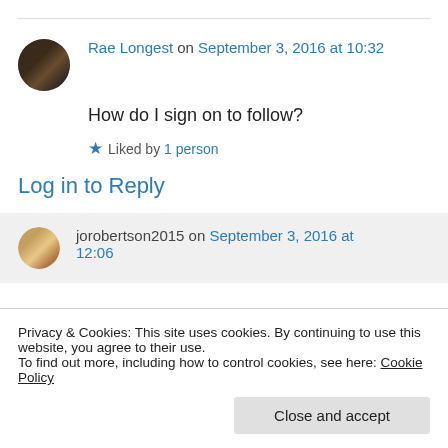Rae Longest on September 3, 2016 at 10:32
How do I sign on to follow?
Liked by 1 person
Log in to Reply
jorobertson2015 on September 3, 2016 at 12:06
Privacy & Cookies: This site uses cookies. By continuing to use this website, you agree to their use.
To find out more, including how to control cookies, see here: Cookie Policy
Close and accept